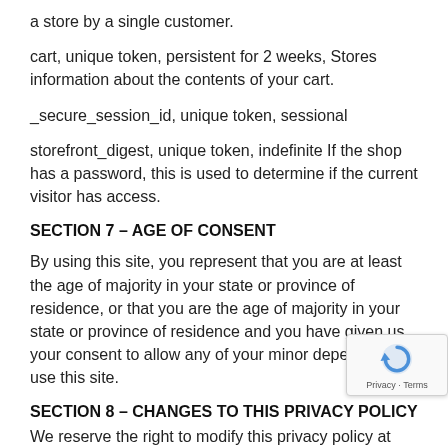a store by a single customer.
cart, unique token, persistent for 2 weeks, Stores information about the contents of your cart.
_secure_session_id, unique token, sessional
storefront_digest, unique token, indefinite If the shop has a password, this is used to determine if the current visitor has access.
SECTION 7 – AGE OF CONSENT
By using this site, you represent that you are at least the age of majority in your state or province of residence, or that you are the age of majority in your state or province of residence and you have given us your consent to allow any of your minor dependents to use this site.
SECTION 8 – CHANGES TO THIS PRIVACY POLICY
We reserve the right to modify this privacy policy at any time, so please review it frequently. Changes and